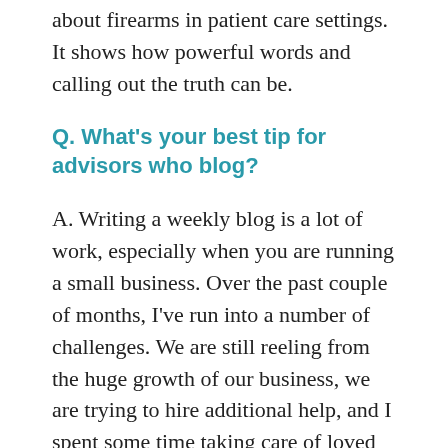about firearms in patient care settings. It shows how powerful words and calling out the truth can be.
Q. What’s your best tip for advisors who blog?
A. Writing a weekly blog is a lot of work, especially when you are running a small business. Over the past couple of months, I’ve run into a number of challenges. We are still reeling from the huge growth of our business, we are trying to hire additional help, and I spent some time taking care of loved ones.
A tip I read somewhere that I wish I would have followed? Have pre-written posts in place in case you run into a tight spot and have nothing